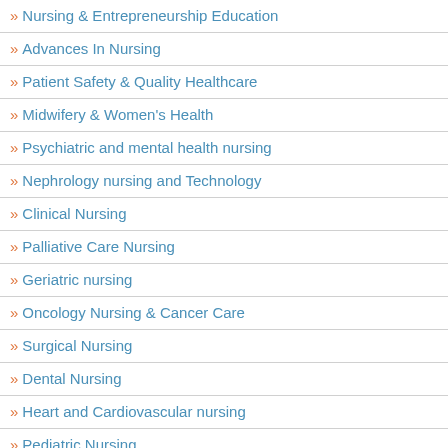Nursing & Entrepreneurship Education
Advances In Nursing
Patient Safety & Quality Healthcare
Midwifery & Women's Health
Psychiatric and mental health nursing
Nephrology nursing and Technology
Clinical Nursing
Palliative Care Nursing
Geriatric nursing
Oncology Nursing & Cancer Care
Surgical Nursing
Dental Nursing
Heart and Cardiovascular nursing
Pediatric Nursing
Holistic Nursing
Family Nursing